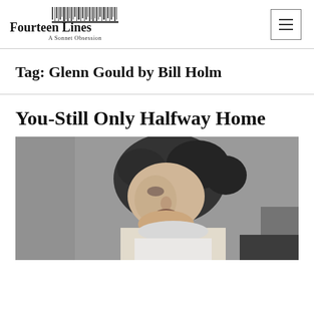Fourteen Lines — A Sonnet Obsession
Tag: Glenn Gould by Bill Holm
You-Still Only Halfway Home
[Figure (photo): Black and white photograph of a young man with curly dark hair leaning forward intensely, presumably Glenn Gould at a piano]